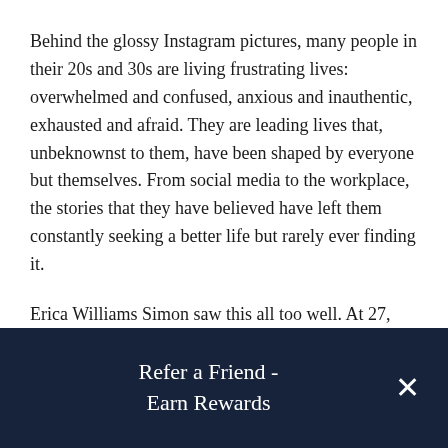Behind the glossy Instagram pictures, many people in their 20s and 30s are living frustrating lives: overwhelmed and confused, anxious and inauthentic, exhausted and afraid. They are leading lives that, unbeknownst to them, have been shaped by everyone but themselves. From social media to the workplace, the stories that they have believed have left them constantly seeking a better life but rarely ever finding it.
Erica Williams Simon saw this all too well. At 27, she abruptly walked away from her career as a rising political media star to find her own truth and a truth that would help others finally build a life worth living.
Refer a Friend - Earn Rewards